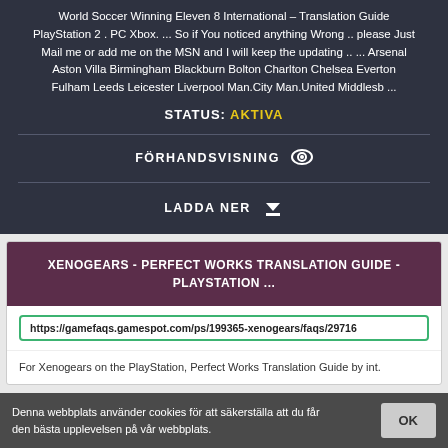World Soccer Winning Eleven 8 International – Translation Guide PlayStation 2 . PC Xbox. ... So if You noticed anything Wrong .. please Just Mail me or add me on the MSN and I will keep the updating .. ... Arsenal Aston Villa Birmingham Blackburn Bolton Charlton Chelsea Everton Fulham Leeds Leicester Liverpool Man.City Man.United Middlesb ...
STATUS: AKTIVA
FÖRHANDSVISNING
LADDA NER
XENOGEARS - PERFECT WORKS TRANSLATION GUIDE - PLAYSTATION ...
https://gamefaqs.gamespot.com/ps/199365-xenogears/faqs/29716
For Xenogears on the PlayStation, Perfect Works Translation Guide by int.
Denna webbplats använder cookies för att säkerställa att du får den bästa upplevelsen på vår webbplats.